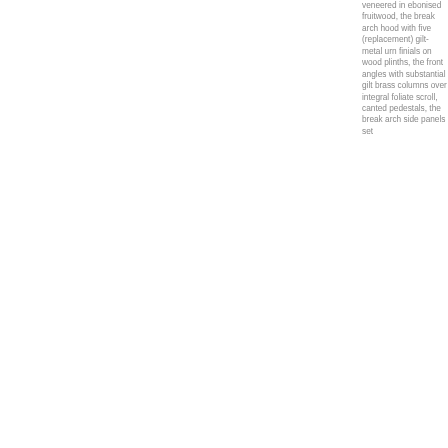veneered in ebonised fruitwood, the break arch hood with five (replacement) gilt-metal urn finials on wood plinths, the front angles with substantial gilt brass columns over integral foliate scroll, canted pedestals, the break arch side panels set